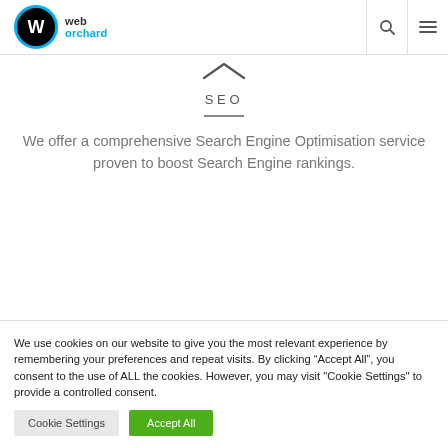web orchard [logo] [search icon] [menu icon]
[Figure (illustration): Upward chevron / caret symbol in dark grey]
SEO
We offer a comprehensive Search Engine Optimisation service proven to boost Search Engine rankings.
We use cookies on our website to give you the most relevant experience by remembering your preferences and repeat visits. By clicking “Accept All”, you consent to the use of ALL the cookies. However, you may visit "Cookie Settings" to provide a controlled consent.